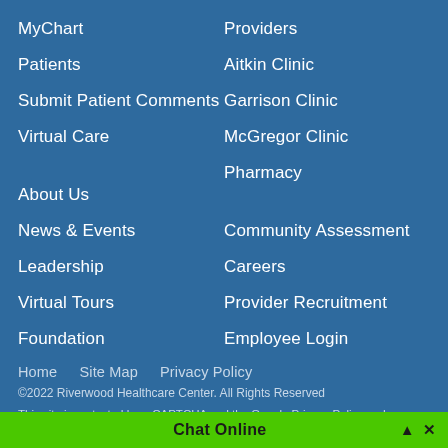MyChart
Patients
Submit Patient Comments
Virtual Care
About Us
News & Events
Leadership
Virtual Tours
Foundation
Providers
Aitkin Clinic
Garrison Clinic
McGregor Clinic
Pharmacy
Community Assessment
Careers
Provider Recruitment
Employee Login
Home   Site Map   Privacy Policy
©2022 Riverwood Healthcare Center. All Rights Reserved
This site is protected by reCAPTCHA and the Google Privacy Policy and
Chat Online